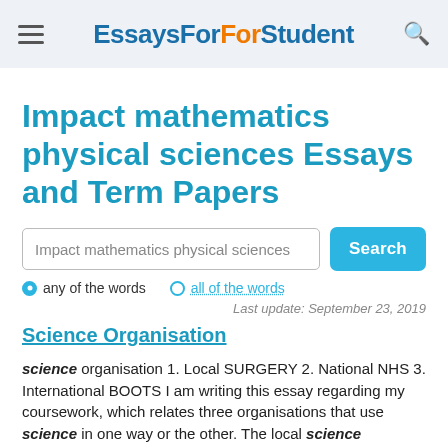EssaysForStudent
Impact mathematics physical sciences Essays and Term Papers
Impact mathematics physical sciences [search input]
any of the words   all of the words
Last update: September 23, 2019
Science Organisation
science organisation 1. Local SURGERY 2. National NHS 3. International BOOTS I am writing this essay regarding my coursework, which relates three organisations that use science in one way or the other. The local science organisation that I have selected is called вЂњMedical centreвЂ. It is located in Nottingham close to Lenton and